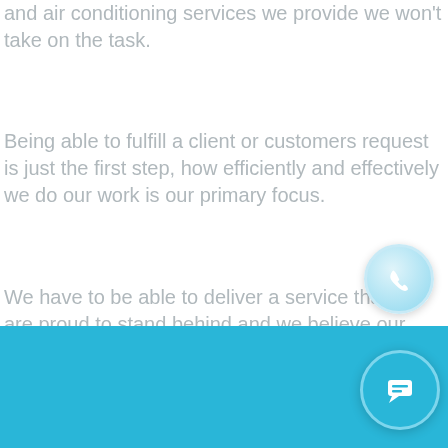and air conditioning services we provide we won't take on the task.
Being able to fulfill a client or customers request is just the first step, how efficiently and effectively we do our work is our primary focus.
We have to be able to deliver a service that we are proud to stand behind and we believe our work speaks for itself. Check out some of our work below to see for yourself
[Figure (illustration): Circular phone icon button with blue gradient background and white telephone handset symbol]
[Figure (illustration): Circular chat/message icon button with blue background and white chat bubble symbol]